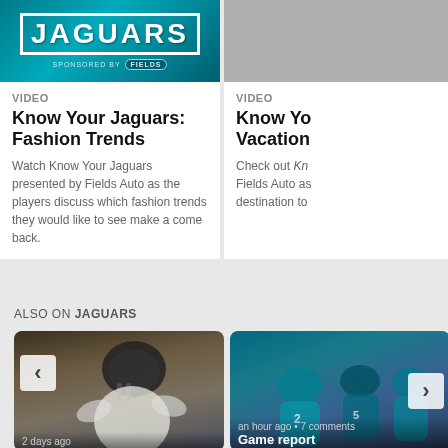[Figure (screenshot): Jaguars video thumbnail with teal background, JAGUARS text, sponsored by Fields Auto badge]
VIDEO
Know Your Jaguars: Fashion Trends
Watch Know Your Jaguars presented by Fields Auto as the players discuss which fashion trends they would like to see make a come back.
[Figure (screenshot): Partial view of person on gray background]
VIDEO
Know Your Jaguars: Vacation
Check out Kn... Fields Auto as... destination to...
ALSO ON JAGUARS
[Figure (photo): Football player in white Jaguars uniform with helmet, close-up action shot, 2 days ago]
[Figure (photo): Jaguars players running in teal uniforms, an hour ago • 7 comments, Game report...]